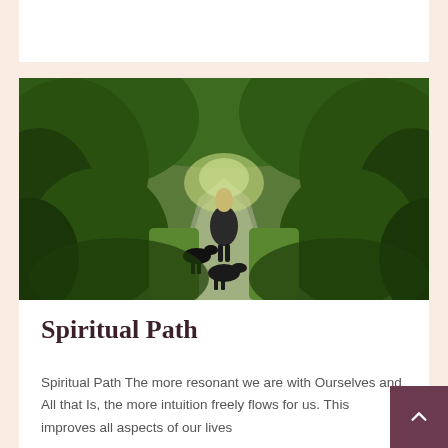[Figure (photo): A person with long blonde/white hair walking away along a green tree-lined path with two or three black dogs, lush greenery and trees on both sides, photographed from behind]
Spiritual Path
Spiritual Path The more resonant we are with Ourselves and All that Is, the more intuition freely flows for us. This improves all aspects of our lives